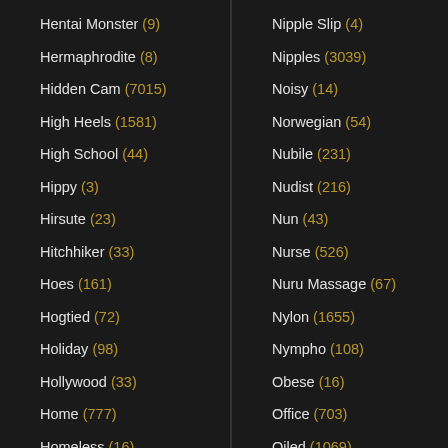Hentai Monster (9)
Hermaphrodite (8)
Hidden Cam (7015)
High Heels (1581)
High School (44)
Hippy (3)
Hirsute (23)
Hitchhiker (33)
Hoes (161)
Hogtied (72)
Holiday (98)
Hollywood (33)
Home (777)
Homeless (16)
Homemade (5538)
Homemade Threesome (107)
Nipple Slip (4)
Nipples (3039)
Noisy (14)
Norwegian (54)
Nubile (231)
Nudist (216)
Nun (43)
Nurse (526)
Nuru Massage (67)
Nylon (1655)
Nympho (108)
Obese (16)
Office (703)
Oiled (1069)
Old & Young (3651)
Old Farts (6)